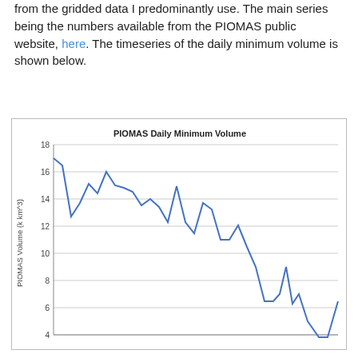from the gridded data I predominantly use. The main series being the numbers available from the PIOMAS public website, here. The timeseries of the daily minimum volume is shown below.
[Figure (line-chart): Line chart showing PIOMAS daily minimum volume declining from about 17 in early years to about 3.5-4 in recent years, with a partial recovery to about 6.5 at the end.]